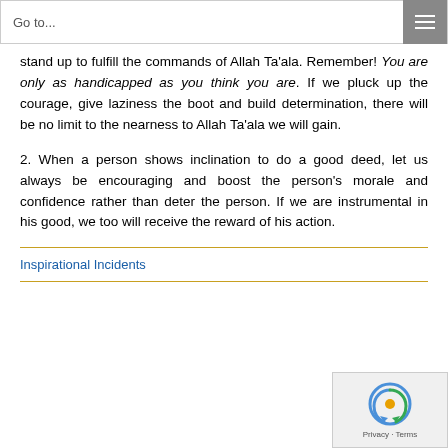Go to...
stand up to fulfill the commands of Allah Ta'ala. Remember! You are only as handicapped as you think you are. If we pluck up the courage, give laziness the boot and build determination, there will be no limit to the nearness to Allah Ta'ala we will gain.
2. When a person shows inclination to do a good deed, let us always be encouraging and boost the person's morale and confidence rather than deter the person. If we are instrumental in his good, we too will receive the reward of his action.
Inspirational Incidents
[Figure (logo): reCAPTCHA widget with privacy and terms text]